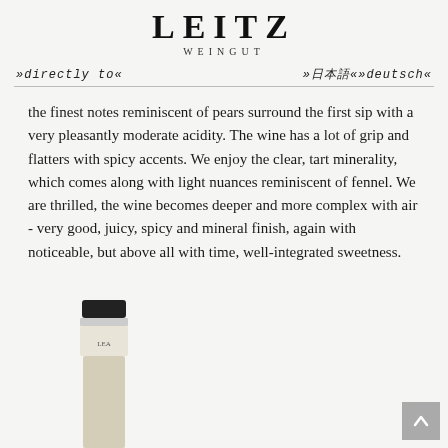LEITZ WEINGUT
»directly to«
»日本語«»deutsch«
the finest notes reminiscent of pears surround the first sip with a very pleasantly moderate acidity. The wine has a lot of grip and flatters with spicy accents. We enjoy the clear, tart minerality, which comes along with light nuances reminiscent of fennel. We are thrilled, the wine becomes deeper and more complex with air - very good, juicy, spicy and mineral finish, again with noticeable, but above all with time, well-integrated sweetness.
[Figure (photo): Bottom portion of a wine bottle with dark cap and label, shown against a light background]